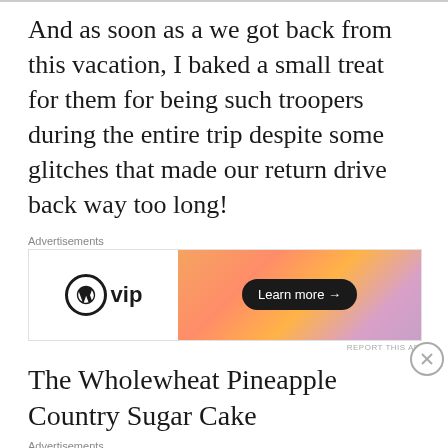And as soon as a we got back from this vacation, I baked a small treat for them for being such troopers during the entire trip despite some glitches that made our return drive back way too long!
[Figure (other): WordPress VIP advertisement banner with orange/pink gradient and Learn more button]
The Wholewheat Pineapple Country Sugar Cake
[Figure (other): DuckDuckGo advertisement banner: Search, browse, and email with more privacy. All in One Free App]